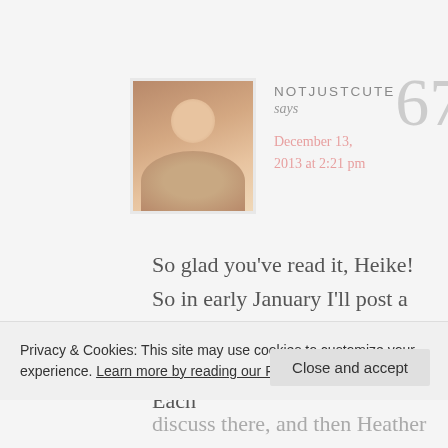[Figure (photo): Profile photo of a smiling woman with long brown hair, seated indoors]
NOTJUSTCUTE
67
says
December 13, 2013 at 2:21 pm
So glad you've read it, Heike! So in early January I'll post a printable schedule showing the reading/discussion schedule. Each
Privacy & Cookies: This site may use cookies to customize your experience. Learn more by reading our Privacy Policy.
Close and accept
discuss there, and then Heather and I